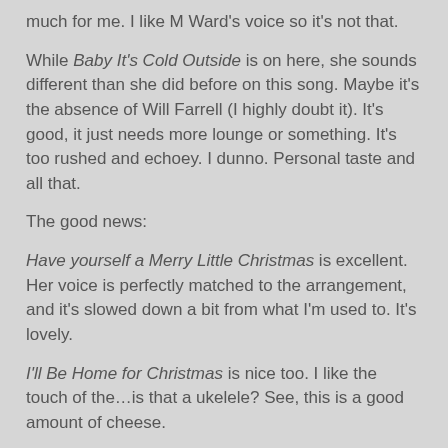much for me. I like M Ward's voice so it's not that.
While Baby It's Cold Outside is on here, she sounds different than she did before on this song. Maybe it's the absence of Will Farrell (I highly doubt it). It's good, it just needs more lounge or something. It's too rushed and echoey. I dunno. Personal taste and all that.
The good news:
Have yourself a Merry Little Christmas is excellent. Her voice is perfectly matched to the arrangement, and it's slowed down a bit from what I'm used to. It's lovely.
I'll Be Home for Christmas is nice too. I like the touch of the…is that a ukelele? See, this is a good amount of cheese.
Sleigh Ride is nice. They both sing on this one and sound great together.
I like the mournful Blue Christmas as well. See I'm not a total